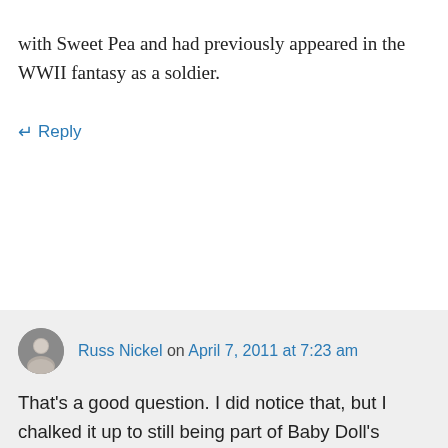with Sweet Pea and had previously appeared in the WWII fantasy as a soldier.
↵ Reply
Russ Nickel on April 7, 2011 at 7:23 am
That's a good question. I did notice that, but I chalked it up to still being part of Baby Doll's imagined fantasy in which she simply generates characters. The old man is the part of her mind that has a plan and thinks it knows what it's doing, and the boy is simply a recurring character used as a clue to prove to us that the last scene is imagined.